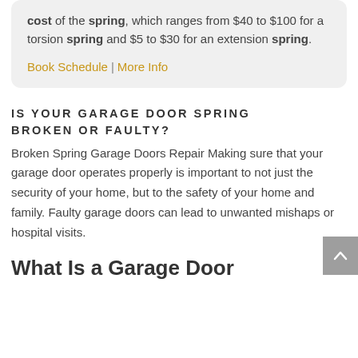cost of the spring, which ranges from $40 to $100 for a torsion spring and $5 to $30 for an extension spring.
Book Schedule | More Info
IS YOUR GARAGE DOOR SPRING BROKEN OR FAULTY?
Broken Spring Garage Doors Repair Making sure that your garage door operates properly is important to not just the security of your home, but to the safety of your home and family. Faulty garage doors can lead to unwanted mishaps or hospital visits.
What Is a Garage Door